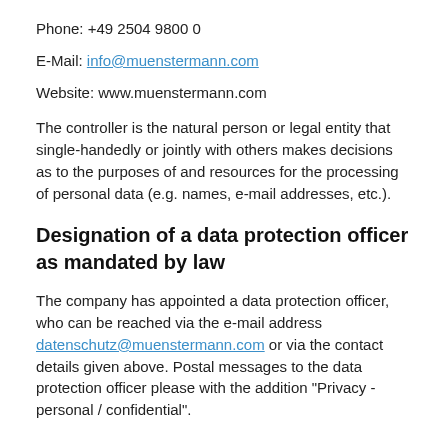Phone: +49 2504 9800 0
E-Mail: info@muenstermann.com
Website: www.muenstermann.com
The controller is the natural person or legal entity that single-handedly or jointly with others makes decisions as to the purposes of and resources for the processing of personal data (e.g. names, e-mail addresses, etc.).
Designation of a data protection officer as mandated by law
The company has appointed a data protection officer, who can be reached via the e-mail address datenschutz@muenstermann.com or via the contact details given above. Postal messages to the data protection officer please with the addition "Privacy - personal / confidential".